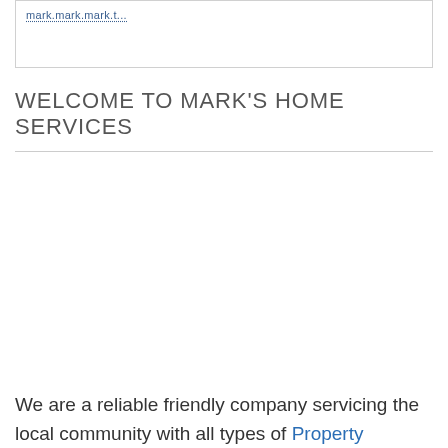[Figure (other): Box with a dotted blue hyperlink text at the top (partially cut off)]
WELCOME TO MARK'S HOME SERVICES
We are a reliable friendly company servicing the local community with all types of Property